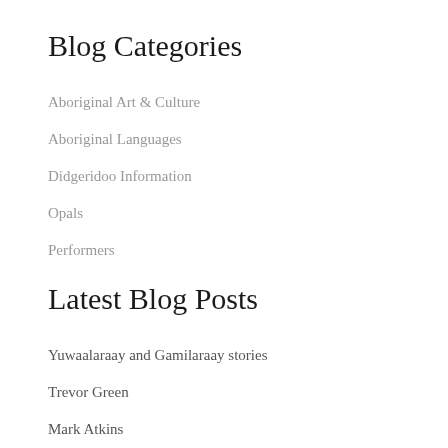Blog Categories
Aboriginal Art & Culture
Aboriginal Languages
Didgeridoo Information
Opals
Performers
Latest Blog Posts
Yuwaalaraay and Gamilaraay stories
Trevor Green
Mark Atkins
Gumaroy